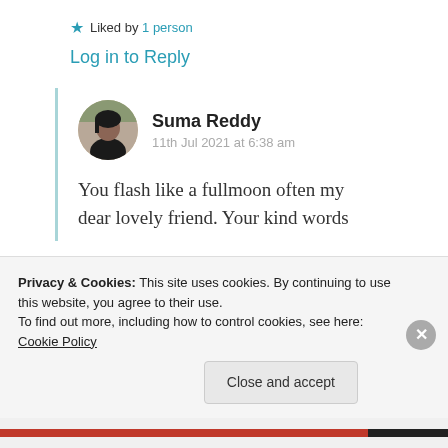★ Liked by 1 person
Log in to Reply
Suma Reddy
11th Jul 2021 at 6:38 am
You flash like a fullmoon often my dear lovely friend. Your kind words
Privacy & Cookies: This site uses cookies. By continuing to use this website, you agree to their use.
To find out more, including how to control cookies, see here: Cookie Policy
Close and accept